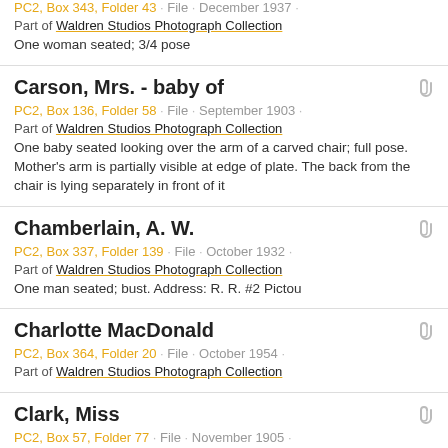PC2, Box 343, Folder 43 · File · December 1937 · Part of Waldren Studios Photograph Collection. One woman seated; 3/4 pose
Carson, Mrs. - baby of. PC2, Box 136, Folder 58 · File · September 1903 · Part of Waldren Studios Photograph Collection. One baby seated looking over the arm of a carved chair; full pose. Mother's arm is partially visible at edge of plate. The back from the chair is lying separately in front of it
Chamberlain, A. W. PC2, Box 337, Folder 139 · File · October 1932 · Part of Waldren Studios Photograph Collection. One man seated; bust. Address: R. R. #2 Pictou
Charlotte MacDonald. PC2, Box 364, Folder 20 · File · October 1954 · Part of Waldren Studios Photograph Collection
Clark, Miss. PC2, Box 57, Folder 77 · File · November 1905 · Part of Waldren Studios Photograph Collection